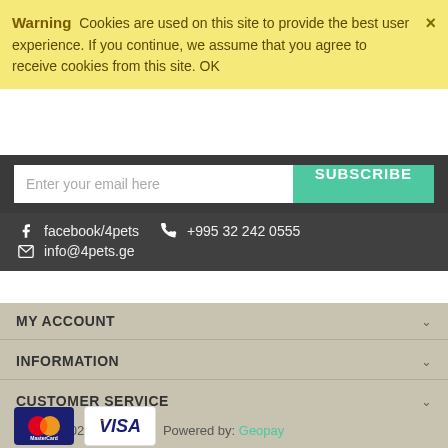Warning  Cookies are used on this site to provide the best user experience. If you continue, we assume that you agree to receive cookies from this site. OK
Enter your email here  SUBSCRIBE
facebook/4pets  +995 32 242 0555  info@4pets.ge
MY ACCOUNT
INFORMATION
CUSTOMER SERVICE
BANK DETAILS
© 2018-2022 4pets.ge.  Powered by: Geopay
[Figure (logo): MasterCard and Visa payment logos]